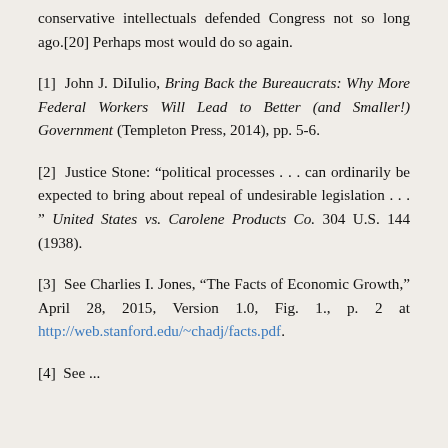conservative intellectuals defended Congress not so long ago.[20] Perhaps most would do so again.
[1] John J. DiIulio, Bring Back the Bureaucrats: Why More Federal Workers Will Lead to Better (and Smaller!) Government (Templeton Press, 2014), pp. 5-6.
[2] Justice Stone: “political processes . . . can ordinarily be expected to bring about repeal of undesirable legislation . . . ” United States vs. Carolene Products Co. 304 U.S. 144 (1938).
[3] See Charlies I. Jones, “The Facts of Economic Growth,” April 28, 2015, Version 1.0, Fig. 1., p. 2 at http://web.stanford.edu/~chadj/facts.pdf.
[4] See ...